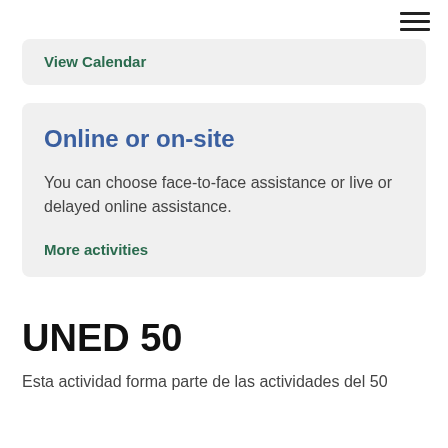View Calendar
Online or on-site
You can choose face-to-face assistance or live or delayed online assistance.
More activities
UNED 50
Esta actividad forma parte de las actividades del 50